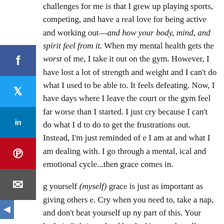challenges for me is that I grew up playing sports, competing, and have a real love for being active and working out—and how your body, mind, and spirit feel from it. When my mental health gets the worst of me, I take it out on the gym. However, I have lost a lot of strength and weight and I can't do what I used to be able to. It feels defeating. Now, I have days where I leave the court or the gym feel far worse than I started. I just cry because I can't do what I d to do to get the frustrations out. Instead, I'm just reminded of e I am at and what I am dealing with. I go through a mental, ical and emotional cycle...then grace comes in.
g yourself (myself) grace is just as important as giving others e. Cry when you need to, take a nap, and don't beat yourself up ny part of this. Your body is fighting a hard battle. You need to allow yourself space and grace when you are going through this. It isn't going to be easy, it isn't going to be pretty, but you are absolutely stronger than you think.
The team from Coolibar really helped me with this. They helped me